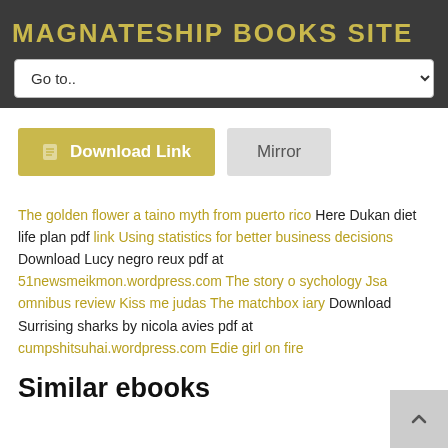MAGNATESHIP BOOKS SITE
Go to..
[Figure (other): Download Link button (gold) and Mirror button (gray)]
The golden flower a taino myth from puerto rico Here Dukan diet life plan pdf link Using statistics for better business decisions Download Lucy negro reux pdf at 51newsmeikmon.wordpress.com The story o sychology Jsa omnibus review Kiss me judas The matchbox iary Download Surrising sharks by nicola avies pdf at cumpshitsuhai.wordpress.com Edie girl on fire
Similar ebooks